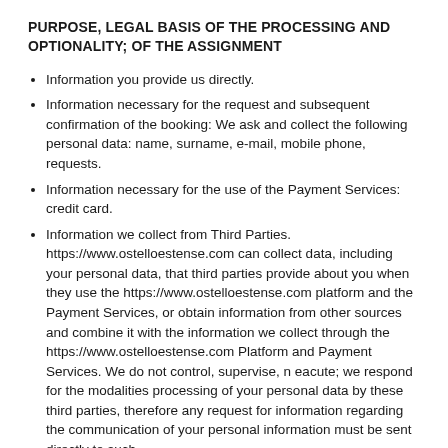PURPOSE, LEGAL BASIS OF THE PROCESSING AND OPTIONALITY; OF THE ASSIGNMENT
Information you provide us directly.
Information necessary for the request and subsequent confirmation of the booking: We ask and collect the following personal data: name, surname, e-mail, mobile phone, requests.
Information necessary for the use of the Payment Services: credit card.
Information we collect from Third Parties. https://www.ostelloestense.com can collect data, including your personal data, that third parties provide about you when they use the https://www.ostelloestense.com platform and the Payment Services, or obtain information from other sources and combine it with the information we collect through the https://www.ostelloestense.com Platform and Payment Services. We do not control, supervise, n eacute; we respond for the modalities processing of your personal data by these third parties, therefore any request for information regarding the communication of your personal information must be sent directly to such